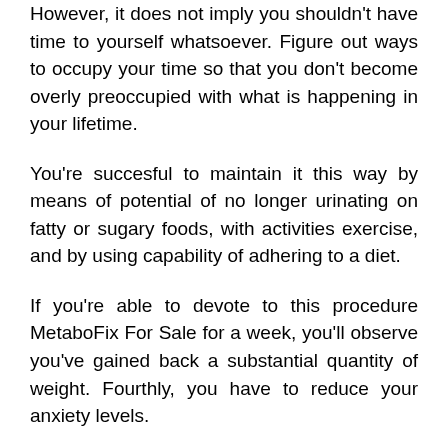However, it does not imply you shouldn't have time to yourself whatsoever. Figure out ways to occupy your time so that you don't become overly preoccupied with what is happening in your lifetime.
You're succesful to maintain it this way by means of potential of no longer urinating on fatty or sugary foods, with activities exercise, and by using capability of adhering to a diet.
If you're able to devote to this procedure MetaboFix For Sale for a week, you'll observe you've gained back a substantial quantity of weight. Fourthly, you have to reduce your anxiety levels.
Anxiety is amongst the most unsafe and popular